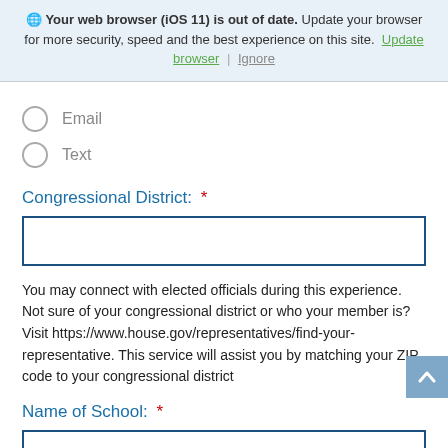Your web browser (iOS 11) is out of date. Update your browser for more security, speed and the best experience on this site. Update browser | Ignore
Email
Text
Congressional District: *
You may connect with elected officials during this experience. Not sure of your congressional district or who your member is? Visit https://www.house.gov/representatives/find-your-representative. This service will assist you by matching your ZIP code to your congressional district
Name of School: *